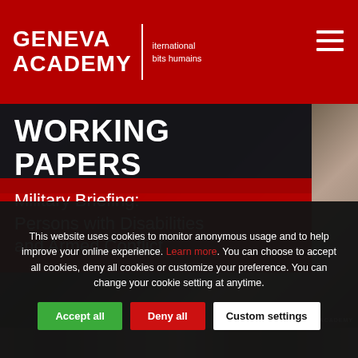GENEVA ACADEMY | International Human Rights | (hamburger menu)
WORKING PAPERS
Military Briefing: Persons with Disabilities and Armed Conflict
[Figure (photo): Ruins of a bombed building, rubble and destroyed concrete structure visible]
[Figure (photo): Second strip showing debris and rubble from conflict zone]
This website uses cookies to monitor anonymous usage and to help improve your online experience. Learn more. You can choose to accept all cookies, deny all cookies or customize your preference. You can change your cookie setting at anytime.
Accept all | Deny all | Custom settings